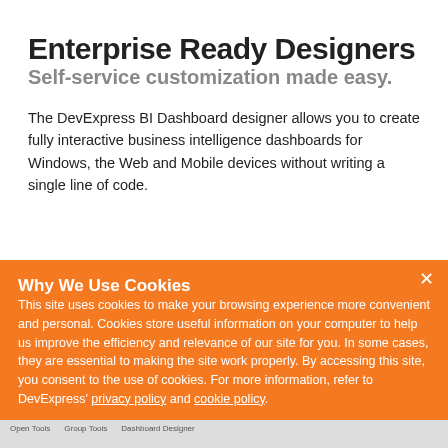Enterprise Ready Designers
Self-service customization made easy.
The DevExpress BI Dashboard designer allows you to create fully interactive business intelligence dashboards for Windows, the Web and Mobile devices without writing a single line of code.
Why We Use Cookies
This site uses cookies to make your browsing experience more convenient and personal. Cookies store useful information on your computer to help us improve the efficiency and relevance of our site for you. In some cases, they are essential to making the site work properly. By accessing this site, you consent to the use of cookies. For more information, refer to DevExpress' privacy policy and cookie policy.
I UNDERSTAND
[Figure (screenshot): Bottom strip showing a partial screenshot of the DevExpress BI Dashboard interface]